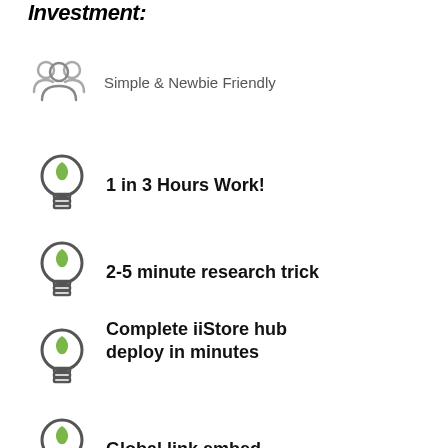Investment:
Simple & Newbie Friendly
1 in 3 Hours Work!
2-5 minute research trick
Complete iiStore hub deploy in minutes
Global link embed